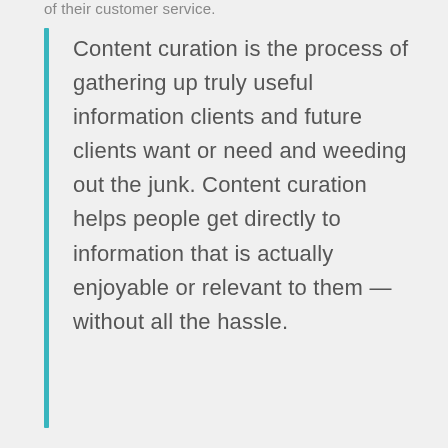of their customer service.
Content curation is the process of gathering up truly useful information clients and future clients want or need and weeding out the junk. Content curation helps people get directly to information that is actually enjoyable or relevant to them — without all the hassle.